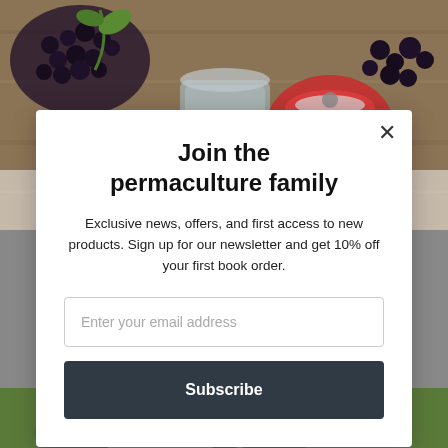[Figure (photo): Photo of dark elderberries and jam jars on a wooden surface, shown as background behind a modal popup]
Join the permaculture family
Exclusive news, offers, and first access to new products. Sign up for our newsletter and get 10% off your first book order.
Enter your email address
Subscribe
[Figure (photo): Photo of garden vegetables shown at the bottom of the page beneath the modal]